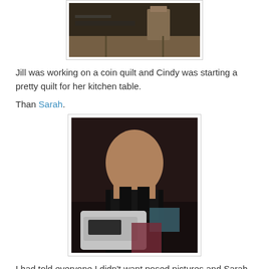[Figure (photo): Partial photo of a room interior, showing a wooden chair and floor, top portion of the image only]
Jill was working on a coin quilt and Cindy was starting a pretty quilt for her kitchen table.
Than Sarah.
[Figure (photo): Photo of a woman (Sarah) smiling and holding fabric while sitting at a white sewing machine, photographed in a darkened room]
I had told everyone I didn't want posed pictures and Sarah